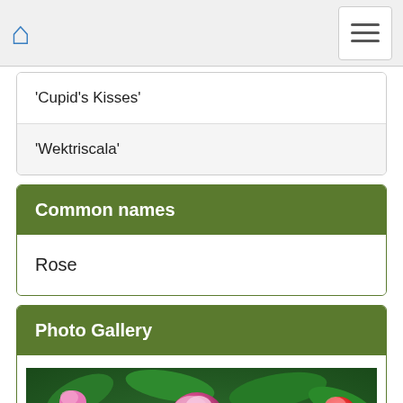Home / Menu navigation bar
'Cupid's Kisses'
'Wektriscala'
Common names
Rose
Photo Gallery
[Figure (photo): Photo of pink and magenta roses with green leaves in background]